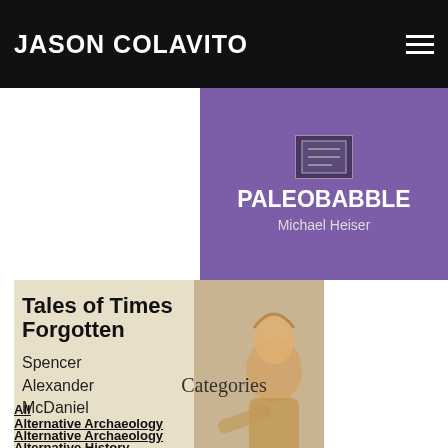JASON COLAVITO
[Figure (illustration): Paleobabble book cover banner by Michael Heiser, purple background with bold white text]
[Figure (illustration): Tales of Times Forgotten book cover by Spencer Alexander McDaniel, showing ancient mosaic figure]
Categories
All
Alternative Archaeology
Alternative Archaeology
Alternative History